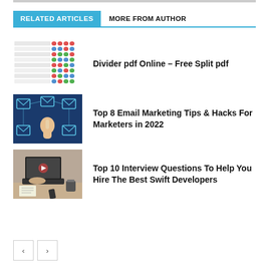RELATED ARTICLES   MORE FROM AUTHOR
[Figure (screenshot): Thumbnail image of a spreadsheet/table with colored dots]
Divider pdf Online – Free Split pdf
[Figure (photo): Blue background with email envelope icons and a pointing hand]
Top 8 Email Marketing Tips & Hacks For Marketers in 2022
[Figure (photo): Person typing on a laptop with a coffee cup nearby]
Top 10 Interview Questions To Help You Hire The Best Swift Developers